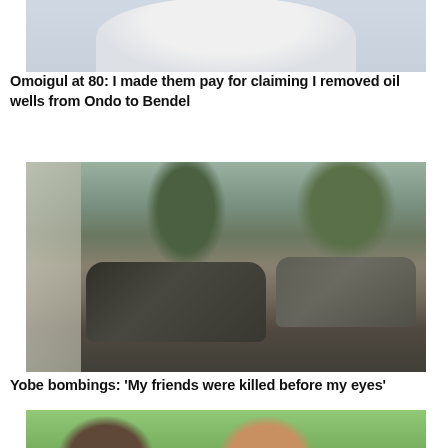[Figure (photo): Partial photo of a person wearing a white traditional garment, cropped at the top of the page]
Omoigul at 80: I made them pay for claiming I removed oil wells from Ondo to Bendel
[Figure (photo): Scene showing burnt-out vehicles on a road with trees and a wall in the background, related to Yobe bombings]
Yobe bombings: ‘My friends were killed before my eyes’
[Figure (photo): Partial photo of people, cropped at the bottom of the page, with green background]